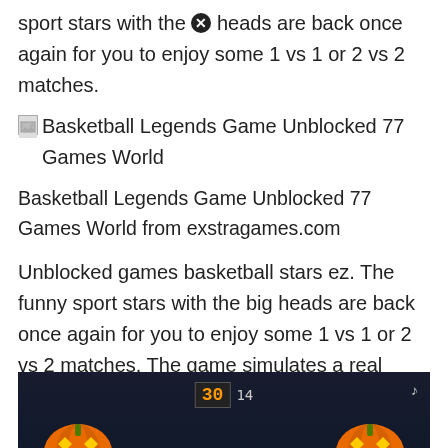sport stars with the ✕ heads are back once again for you to enjoy some 1 vs 1 or 2 vs 2 matches.
[Figure (other): Broken image placeholder with alt text: Basketball Legends Game Unblocked 77 Games World]
Basketball Legends Game Unblocked 77 Games World from exstragames.com
Unblocked games basketball stars ez. The funny sport stars with the big heads are back once again for you to enjoy some 1 vs 1 or 2 vs 2 matches. The game simulates a real season of soccer.
[Figure (screenshot): Screenshot of a basketball video game with Halloween theme showing two pumpkin characters and text 'PUMPKIN DU-U-U-NK!!!' in purple with scoreboard showing 30-14.]